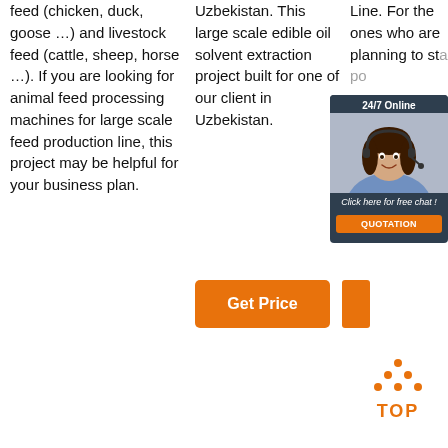feed (chicken, duck, goose …) and livestock feed (cattle, sheep, horse …). If you are looking for animal feed processing machines for large scale feed production line, this project may be helpful for your business plan.
Uzbekistan. This large scale edible oil solvent extraction project built for one of our client in Uzbekistan.
Line. For the ones who are planning to start a poultry or meat business, selling or in…
[Figure (screenshot): 24/7 Online chat widget with a customer service woman photo, 'Click here for free chat!' text, and an orange QUOTATION button]
[Figure (other): Orange Get Price button]
[Figure (logo): Orange TOP button with triangle dot pattern above the word TOP]